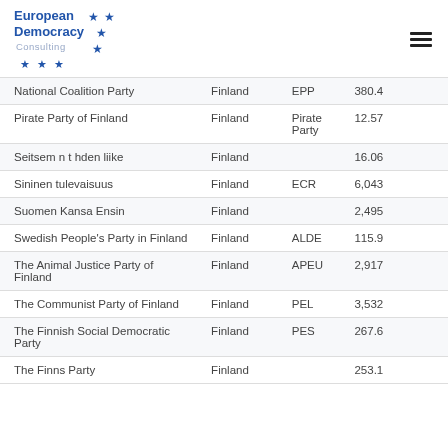[Figure (logo): European Democracy Consulting logo with blue stars]
| Party | Country | EU Group | Votes |
| --- | --- | --- | --- |
| National Coalition Party | Finland | EPP | 380.4… |
| Pirate Party of Finland | Finland | Pirate Party | 12.57… |
| Seitsemän tähden liike | Finland |  | 16.06… |
| Sininen tulevaisuus | Finland | ECR | 6,043… |
| Suomen Kansa Ensin | Finland |  | 2,495… |
| Swedish People's Party in Finland | Finland | ALDE | 115.9… |
| The Animal Justice Party of Finland | Finland | APEU | 2,917… |
| The Communist Party of Finland | Finland | PEL | 3,532… |
| The Finnish Social Democratic Party | Finland | PES | 267.6… |
| The Finns Party | Finland |  | 253.1… |